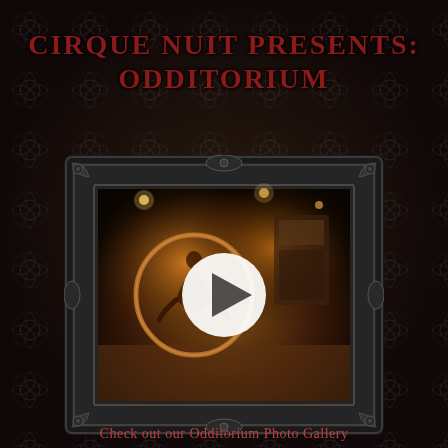CIRQUE NUIT PRESENTS: ODDITORIUM
[Figure (photo): An ornate dark baroque picture frame containing a photo of a circus performer contorting inside a large hoop on a warmly lit stage, with a white circular play button overlay in the center.]
Check out our Odditorium Photo Gallery